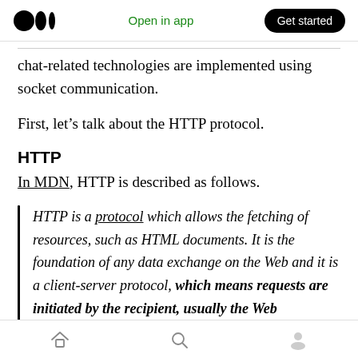Open in app  Get started
chat-related technologies are implemented using socket communication.
First, let’s talk about the HTTP protocol.
HTTP
In MDN, HTTP is described as follows.
HTTP is a protocol which allows the fetching of resources, such as HTML documents. It is the foundation of any data exchange on the Web and it is a client-server protocol, which means requests are initiated by the recipient, usually the Web
Home  Search  Profile